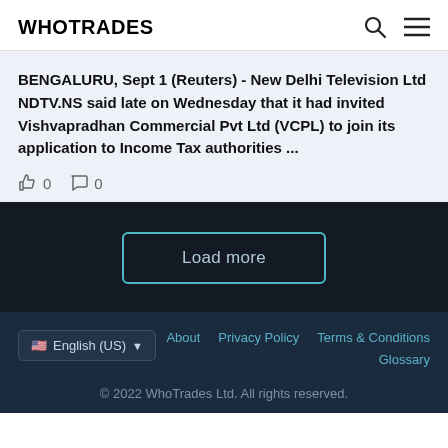WHOTRADES
BENGALURU, Sept 1 (Reuters) - New Delhi Television Ltd NDTV.NS said late on Wednesday that it had invited Vishvapradhan Commercial Pvt Ltd (VCPL) to join its application to Income Tax authorities ...
0  0
Load more
English (US) ▼   About   Privacy Policy   Terms & Conditions   Glossary   © 2022 WhoTrades Ltd. All rights reserved.